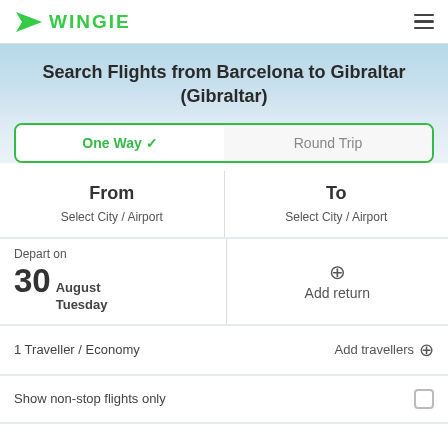[Figure (logo): Wingie logo with green triangle/arrow icon and WINGIE text in green]
Search Flights from Barcelona to Gibraltar (Gibraltar)
One Way ✓   Round Trip
From
Select City / Airport
To
Select City / Airport
Depart on
30 August Tuesday
+ Add return
1 Traveller / Economy   Add travellers ⊕
Show non-stop flights only